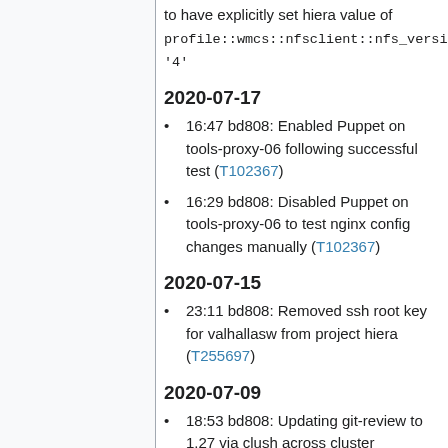to have explicitly set hiera value of profile::wmcs::nfsclient::nfs_version: '4'
2020-07-17
16:47 bd808: Enabled Puppet on tools-proxy-06 following successful test (T102367)
16:29 bd808: Disabled Puppet on tools-proxy-06 to test nginx config changes manually (T102367)
2020-07-15
23:11 bd808: Removed ssh root key for valhallasw from project hiera (T255697)
2020-07-09
18:53 bd808: Updating git-review to 1.27 via clush across cluster